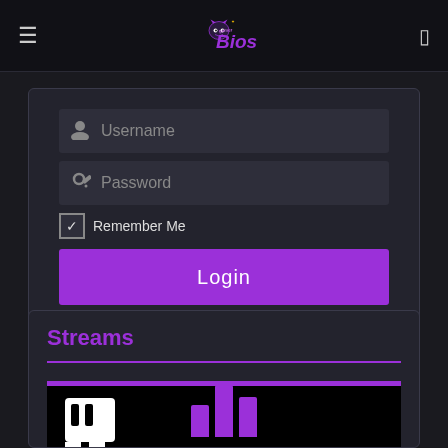[Figure (logo): Gamer Bios logo with stylized devil/ghost mascot icon in purple, text 'gamer bios' in purple letters]
[Figure (screenshot): Login form with Username field, Password field, Remember Me checkbox, Login button in purple, and Forgot Password link]
Streams
[Figure (screenshot): Twitch embed area with purple top bar, Twitch logo in white at top left, and purple bar chart visualization at bottom center]